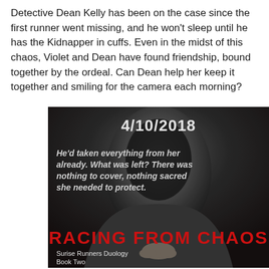Detective Dean Kelly has been on the case since the first runner went missing, and he won't sleep until he has the Kidnapper in cuffs. Even in the midst of this chaos, Violet and Dean have found friendship, bound together by the ordeal. Can Dean help her keep it together and smiling for the camera each morning?
[Figure (illustration): Book cover for 'Racing from Chaos' - Surise Runners Duology Book Two. Dark background with a hooded figure. Shows date 4/10/2018 at top, a quote 'He'd taken everything from her already. What was left? There was nothing to cover, nothing sacred she needed to protect.' in white italic text, large red title text 'RACING FROM CHAOS' and subtitle 'Surise Runners Duology Book Two' at bottom left.]